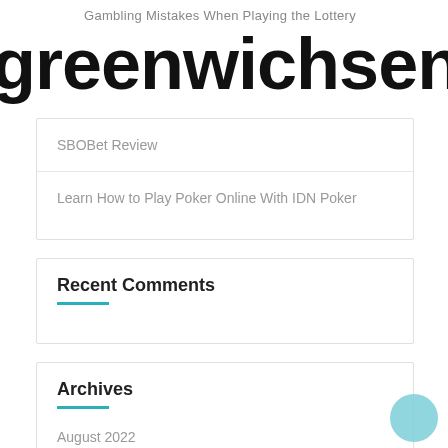Gambling Mistakes When Playing the Lottery
greenwichseniorrecrui
SBOBet Review
Learn How to Play Poker Online With IDN Poker
Recent Comments
Archives
August 2022